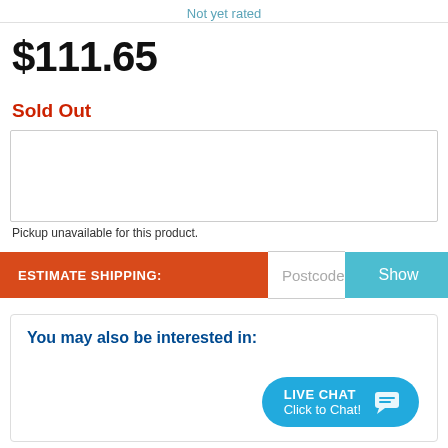Not yet rated
$111.65
Sold Out
Pickup unavailable for this product.
ESTIMATE SHIPPING:
Postcode
Show
You may also be interested in:
LIVE CHAT
Click to Chat!